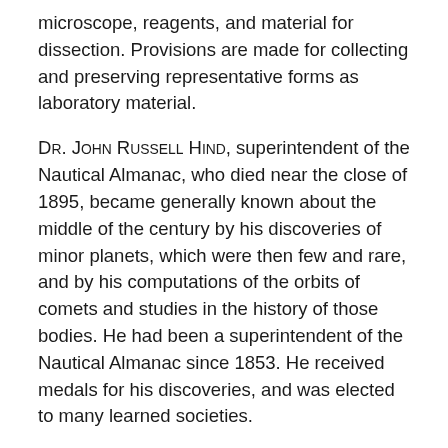microscope, reagents, and material for dissection. Provisions are made for collecting and preserving representative forms as laboratory material.
Dr. John Russell Hind, superintendent of the Nautical Almanac, who died near the close of 1895, became generally known about the middle of the century by his discoveries of minor planets, which were then few and rare, and by his computations of the orbits of comets and studies in the history of those bodies. He had been a superintendent of the Nautical Almanac since 1853. He received medals for his discoveries, and was elected to many learned societies.
Prof. Adalbert Krueger, of the Observatory of Kiel, and editor of the Astronomische Nachrichten, died April 21st, at the age of sixty-four years. He was for many years assistant to Argelander, whose daughter he married at